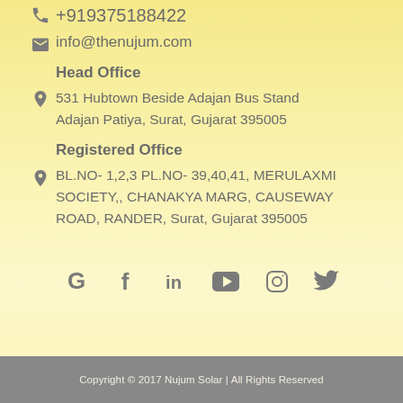+919375188422
info@thenujum.com
Head Office
531 Hubtown Beside Adajan Bus Stand Adajan Patiya, Surat, Gujarat 395005
Registered Office
BL.NO- 1,2,3 PL.NO- 39,40,41, MERULAXMI SOCIETY,, CHANAKYA MARG, CAUSEWAY ROAD, RANDER, Surat, Gujarat 395005
[Figure (other): Social media icons: Google, Facebook, LinkedIn, YouTube, Instagram, Twitter]
Copyright © 2017 Nujum Solar | All Rights Reserved